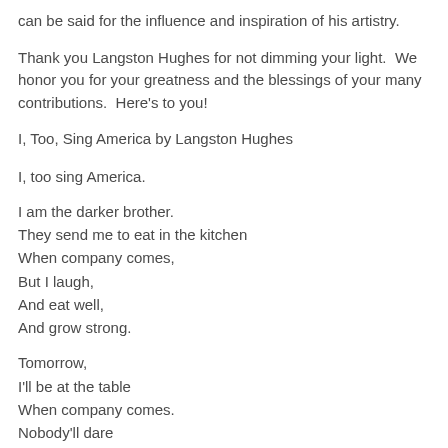can be said for the influence and inspiration of his artistry.
Thank you Langston Hughes for not dimming your light.  We honor you for your greatness and the blessings of your many contributions.  Here's to you!
I, Too, Sing America by Langston Hughes
I, too sing America.
I am the darker brother.
They send me to eat in the kitchen
When company comes,
But I laugh,
And eat well,
And grow strong.
Tomorrow,
I'll be at the table
When company comes.
Nobody'll dare